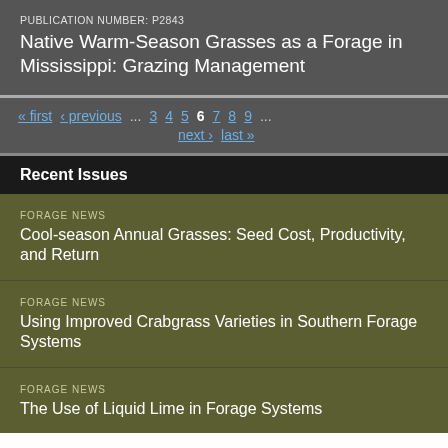PUBLICATION NUMBER: P2843
Native Warm-Season Grasses as a Forage in Mississippi: Grazing Management
« first  ‹ previous  ...  3  4  5  6  7  8  9  ...  next ›  last »
Recent Issues
FORAGE NEWS
Cool-season Annual Grasses: Seed Cost, Productivity, and Return
FORAGE NEWS
Using Improved Crabgrass Varieties in Southern Forage Systems
FORAGE NEWS
The Use of Liquid Lime in Forage Systems